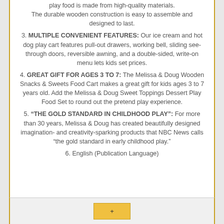The durable wooden construction is easy to assemble and designed to last.
3. MULTIPLE CONVENIENT FEATURES: Our ice cream and hot dog play cart features pull-out drawers, working bell, sliding see-through doors, reversible awning, and a double-sided, write-on menu lets kids set prices.
4. GREAT GIFT FOR AGES 3 TO 7: The Melissa & Doug Wooden Snacks & Sweets Food Cart makes a great gift for kids ages 3 to 7 years old. Add the Melissa & Doug Sweet Toppings Dessert Play Food Set to round out the pretend play experience.
5. “THE GOLD STANDARD IN CHILDHOOD PLAY”: For more than 30 years, Melissa & Doug has created beautifully designed imagination- and creativity-sparking products that NBC News calls “the gold standard in early childhood play.”
6. English (Publication Language)